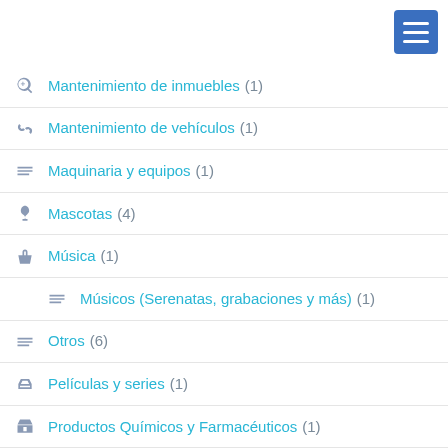Mantenimiento de inmuebles (1)
Mantenimiento de vehículos (1)
Maquinaria y equipos (1)
Mascotas (4)
Música (1)
Músicos (Serenatas, grabaciones y más) (1)
Otros (6)
Películas y series (1)
Productos Químicos y Farmacéuticos (1)
Ropa y Calzado (6)
Bolsos, equipaje, accesorios y carteras (2)